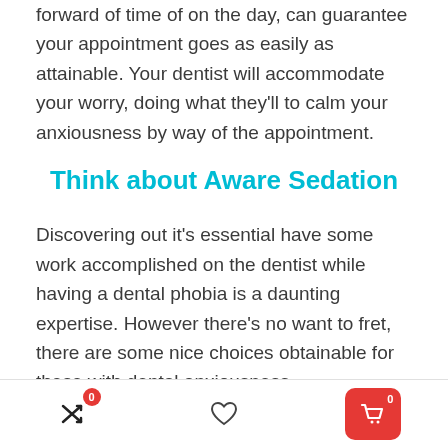forward of time of on the day, can guarantee your appointment goes as easily as attainable. Your dentist will accommodate your worry, doing what they'll to calm your anxiousness by way of the appointment.
Think about Aware Sedation
Discovering out it's essential have some work accomplished on the dentist while having a dental phobia is a daunting expertise. However there's no want to fret, there are some nice choices obtainable for these with dental anxiousness.
Aware sedation is used to deal with anxious sufferers: